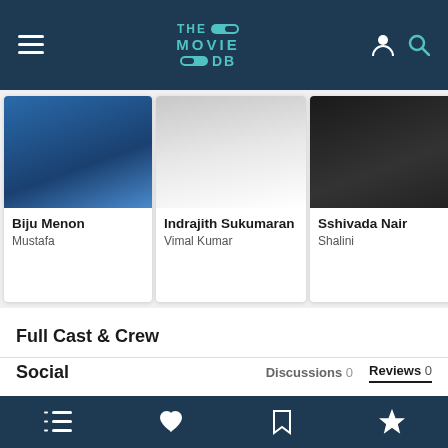THE MOVIE DB navigation header
[Figure (photo): Cast card photo of Biju Menon (partially visible, blue clothing)]
Biju Menon
Mustafa
[Figure (photo): Cast card photo of Indrajith Sukumaran (white shirt)]
Indrajith Sukumaran
Vimal Kumar
[Figure (photo): Cast card photo of Sshivada Nair (dark background)]
Sshivada Nair
Shalini
Full Cast & Crew
Social
Discussions 0
Reviews 0
We don't have any reviews for Lakshyam.
Media
Backdrops 2
Videos 0
Most Popular
Bottom navigation bar with list, heart, bookmark, and star icons